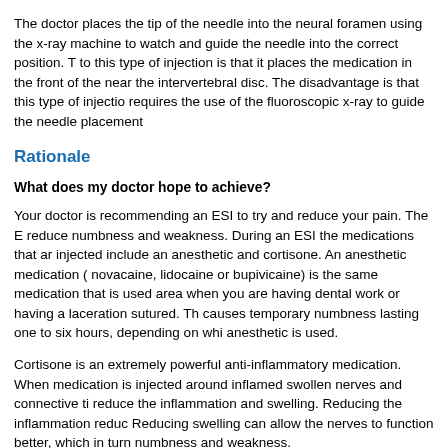The doctor places the tip of the needle into the neural foramen using the x-ray machine to watch and guide the needle into the correct position. T to this type of injection is that it places the medication in the front of the near the intervertebral disc. The disadvantage is that this type of injectio requires the use of the fluoroscopic x-ray to guide the needle placement
Rationale
What does my doctor hope to achieve?
Your doctor is recommending an ESI to try and reduce your pain. The E reduce numbness and weakness. During an ESI the medications that ar injected include an anesthetic and cortisone. An anesthetic medication ( novacaine, lidocaine or bupivicaine) is the same medication that is used area when you are having dental work or having a laceration sutured. Th causes temporary numbness lasting one to six hours, depending on whi anesthetic is used.
Cortisone is an extremely powerful anti-inflammatory medication. When medication is injected around inflamed swollen nerves and connective ti reduce the inflammation and swelling. Reducing the inflammation reduc Reducing swelling can allow the nerves to function better, which in turn numbness and weakness.